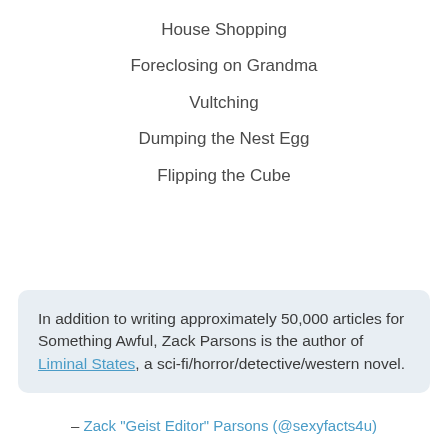House Shopping
Foreclosing on Grandma
Vultching
Dumping the Nest Egg
Flipping the Cube
In addition to writing approximately 50,000 articles for Something Awful, Zack Parsons is the author of Liminal States, a sci-fi/horror/detective/western novel.
– Zack "Geist Editor" Parsons (@sexyfacts4u)